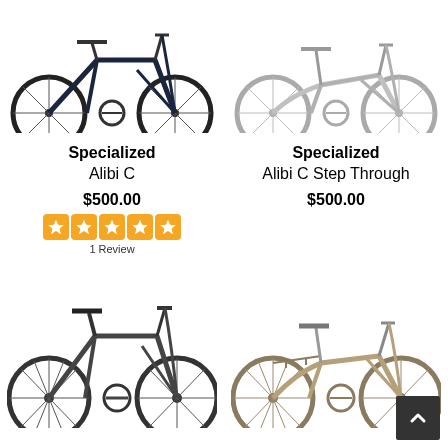[Figure (photo): Specialized Alibi C bicycle - dark blue hybrid bike, top view cropped]
[Figure (photo): Specialized Alibi C Step Through bicycle - light gray step-through hybrid bike, top view cropped]
Specialized
Alibi C
$500.00
[Figure (other): 5-star rating: 5 orange star boxes]
1 Review
Specialized
Alibi C Step Through
$500.00
[Figure (photo): Dark gray hybrid bicycle - bottom row left]
[Figure (photo): Tan/beige step-through hybrid bicycle with rear rack - bottom row right]